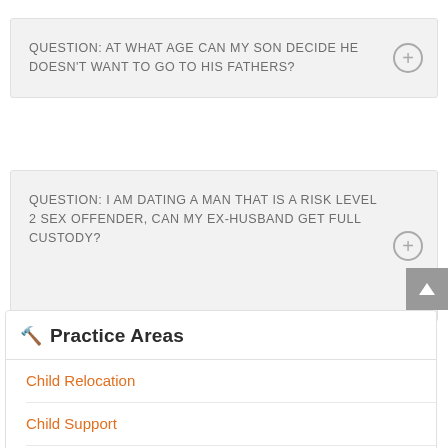QUESTION: AT WHAT AGE CAN MY SON DECIDE HE DOESN'T WANT TO GO TO HIS FATHERS?
QUESTION: I AM DATING A MAN THAT IS A RISK LEVEL 2 SEX OFFENDER, CAN MY EX-HUSBAND GET FULL CUSTODY?
Practice Areas
Child Relocation
Child Support
Community Property